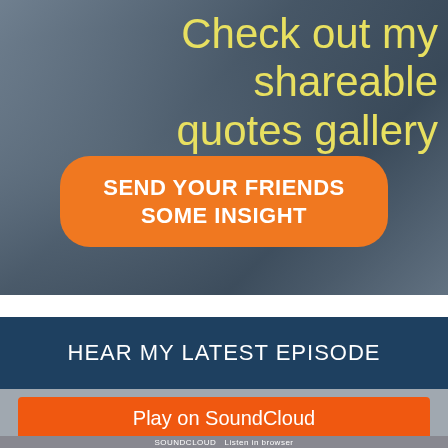[Figure (photo): Background photo of hands holding a smartphone, overlaid with dark grey-blue tint]
Check out my shareable quotes gallery
SEND YOUR FRIENDS SOME INSIGHT
HEAR MY LATEST EPISODE
[Figure (screenshot): SoundCloud embedded player widget with orange Play on SoundCloud button and Listen in browser option]